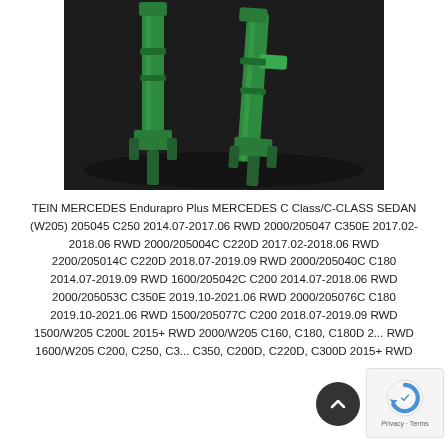[Figure (photo): Two green TEIN Endurapro Plus shock absorbers/struts photographed against a dark background]
TEIN MERCEDES Endurapro Plus MERCEDES C Class/C-CLASS SEDAN (W205) 205045 C250 2014.07-2017.06 RWD 2000/205047 C350E 2017.02-2018.06 RWD 2000/205004C C220D 2017.02-2018.06 RWD 2200/205014C C220D 2018.07-2019.09 RWD 2000/205040C C180 2014.07-2019.09 RWD 1600/205042C C200 2014.07-2018.06 RWD 2000/205053C C350E 2019.10-2021.06 RWD 2000/205076C C180 2019.10-2021.06 RWD 1500/205077C C200 2018.07-2019.09 RWD 1500/W205 C200L 2015+ RWD 2000/W205 C160, C180, C180D 2... RWD 1600/W205 C200, C250, C3... C350, C200D, C220D, C300D 2015+ RWD